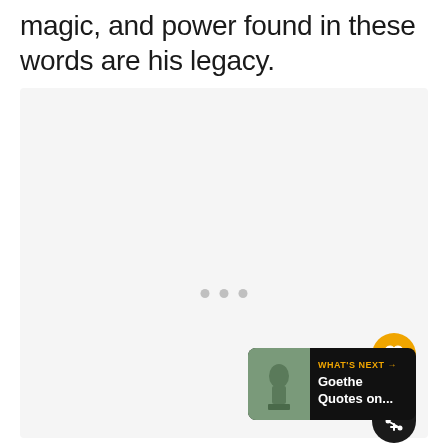magic, and power found in these words are his legacy.
[Figure (other): Large light gray image placeholder area with three small gray dots at center-bottom indicating a carousel or slideshow. UI overlay elements include an orange heart/like button, a dark share button with count '4', and a 'What's Next' navigation banner showing 'Goethe Quotes on...' with a thumbnail.]